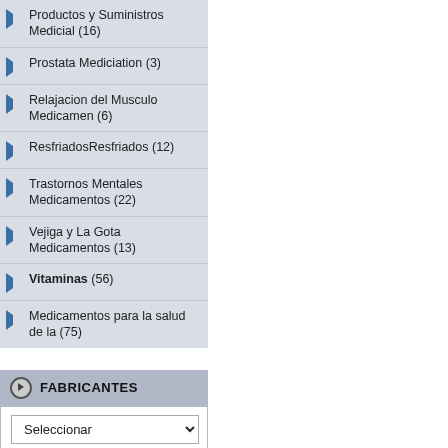Productos y Suministros Medicial (16)
Prostata Mediciation (3)
Relajacion del Musculo Medicamen (6)
ResfriadosResfriados (12)
Trastornos Mentales Medicamentos (22)
Vejiga y La Gota Medicamentos (13)
Vitaminas (56)
Medicamentos para la salud de la (75)
FABRICANTES
Seleccionar
BÚSQUEDA RÁPIDA